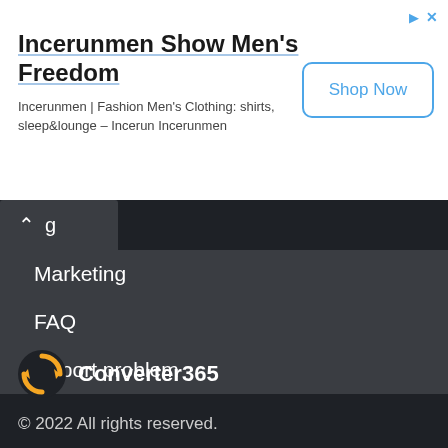[Figure (infographic): Advertisement banner for Incerunmen with title, subtitle and Shop Now button]
Incerunmen Show Men's Freedom
Incerunmen | Fashion Men's Clothing: shirts, sleep&lounge – Incerun Incerunmen
g
Marketing
FAQ
Report problem
Privacy policy
Terms Of Service
[Figure (logo): Converter365 logo: orange circular arrows icon with white text]
Converter365
© 2022 All rights reserved.